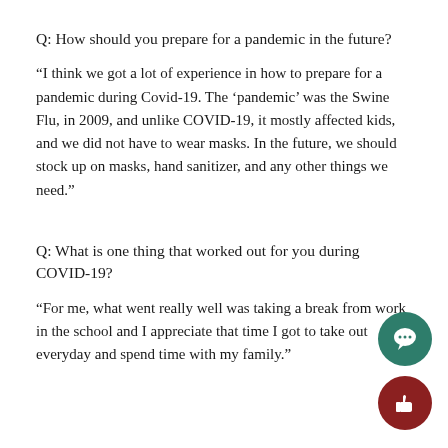Q: How should you prepare for a pandemic in the future?
“I think we got a lot of experience in how to prepare for a pandemic during Covid-19. The ‘pandemic’ was the Swine Flu, in 2009, and unlike COVID-19, it mostly affected kids, and we did not have to wear masks. In the future, we should stock up on masks, hand sanitizer, and any other things we need.”
Q: What is one thing that worked out for you during COVID-19?
“For me, what went really well was taking a break from work in the school and I appreciate that time I got to take out everyday and spend time with my family.”